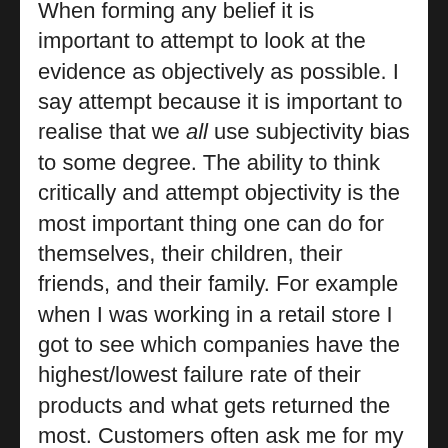When forming any belief it is important to attempt to look at the evidence as objectively as possible. I say attempt because it is important to realise that we all use subjectivity bias to some degree. The ability to think critically and attempt objectivity is the most important thing one can do for themselves, their children, their friends, and their family. For example when I was working in a retail store I got to see which companies have the highest/lowest failure rate of their products and what gets returned the most. Customers often ask me for my opinion when choosing computers: “I want a computer that is very reliable, what’s better Mac or PC?”. I always proceed to give them the facts. Macs have the lowest failure rate and rate of return then any other computer by a large margin. Half of the time this information is returned in statements similar to “My friend had a Mac and it